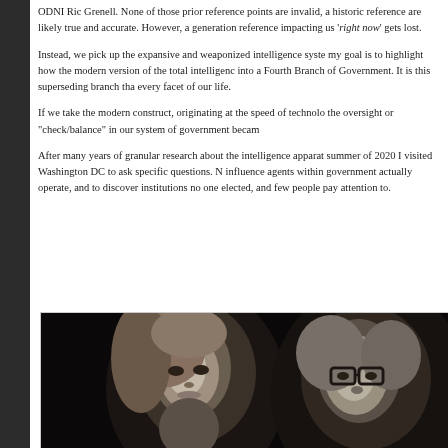ODNI Ric Grenell. None of those prior reference points are invalid, a historic reference are likely true and accurate. However, a generation reference impacting us 'right now' gets lost.
Instead, we pick up the expansive and weaponized intelligence system my goal is to highlight how the modern version of the total intelligence into a Fourth Branch of Government. It is this superseding branch that every facet of our life.
If we take the modern construct, originating at the speed of technology the oversight or "check/balance" in our system of government became
After many years of granular research about the intelligence apparatus summer of 2020 I visited Washington DC to ask specific questions. Influence agents within government actually operate, and to discover institutions no one elected, and few people pay attention to.
[Figure (photo): Black and white photograph showing two people: a woman on the left with light hair looking forward, and a man on the right wearing glasses.]